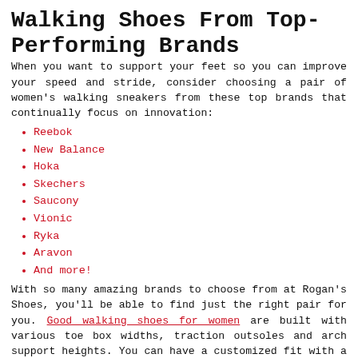Walking Shoes From Top-Performing Brands
When you want to support your feet so you can improve your speed and stride, consider choosing a pair of women’s walking sneakers from these top brands that continually focus on innovation:
Reebok
New Balance
Hoka
Skechers
Saucony
Vionic
Ryka
Aravon
And more!
With so many amazing brands to choose from at Rogan’s Shoes, you’ll be able to find just the right pair for you. Good walking shoes for women are built with various toe box widths, traction outsoles and arch support heights. You can have a customized fit with a shoe that matches your foot shape. At Rogan’s Shoes, we pride ourselves on featuring a huge variety